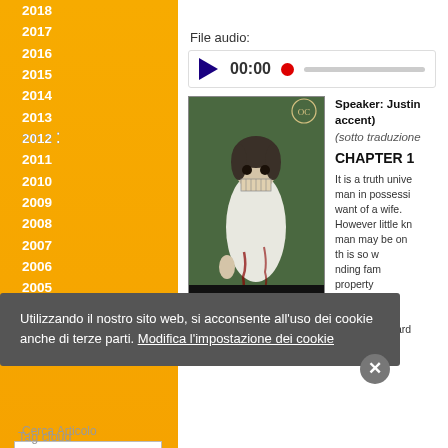2018
2017
2016
2015
2014
2013
2012
2011
2010
2009
2008
2007
2006
2005
Top rated articles
Magazine Extras
Cerca Articolo
Numero
File audio:
[Figure (illustration): Book cover of Pride and Prejudice and Zombies showing a zombie woman in period dress]
Speaker: Justin... accent)
(sotto traduzione...
CHAPTER 1
It is a truth unive... man in possessi... want of a wife. However little kn... man may be on... th is so w... nding fam... property ers. ar Mr. Be... "have you heard...
Utilizzando il nostro sito web, si acconsente all'uso dei cookie anche di terze parti. Modifica l'impostazione dei cookie